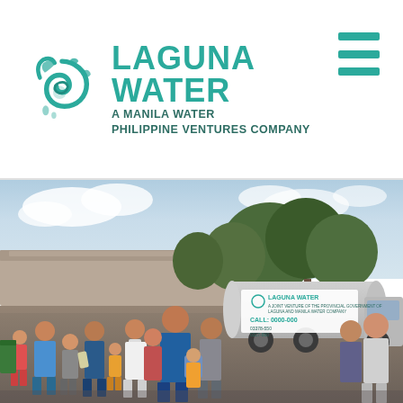[Figure (logo): Laguna Water logo with teal spiral/water drop icon on left, company name 'LAGUNA WATER' in large teal bold text, and subtitle 'A MANILA WATER PHILIPPINE VENTURES COMPANY' in smaller dark teal text below]
[Figure (other): Hamburger menu icon (three horizontal teal bars) in top-right corner of header]
[Figure (photo): Outdoor photo showing a crowd of people (men, women, and children) queuing beside a large Laguna Water tanker truck. Trees and a building are visible in the background under a partly cloudy sky. The tanker has the Laguna Water logo and contact numbers on its side.]